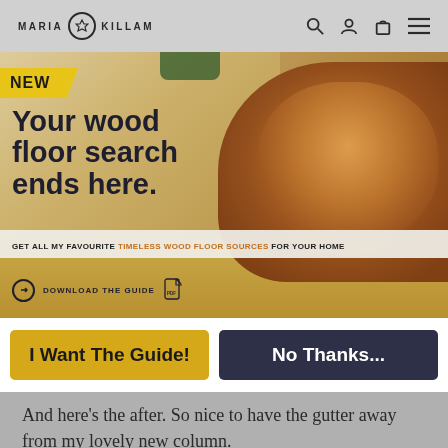MARIA KILLAM
[Figure (screenshot): Website banner/popup for Maria Killam wood floor guide. Features a golden doodle puppy lying on a light wood floor. Yellow 'NEW' badge in top-left corner. Bold dark headline reads 'Your wood floor search ends here.' A subbar reads 'GET ALL MY FAVOURITE TIMELESS WOOD FLOOR SOURCES FOR YOUR HOME'. A download link says 'DOWNLOAD THE GUIDE' with a PDF icon.]
I Want The Guide!
No Thanks...
And here's the after. So nice to have the gutter away from my lovely new column.